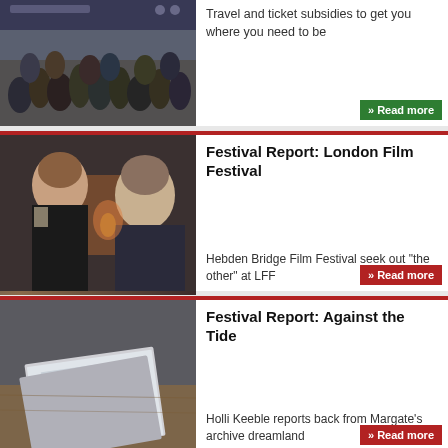[Figure (photo): Crowd of people at an indoor event or festival venue]
Travel and ticket subsidies to get you where you need to be
» Read more
[Figure (photo): Two women in period costume facing each other, one smiling]
Festival Report: London Film Festival
Hebden Bridge Film Festival seek out "the other" at LFF
» Read more
[Figure (photo): Books titled 'Against the Tide' on a table]
Festival Report: Against the Tide
Holli Keeble reports back from Margate's archive dreamland
» Read more